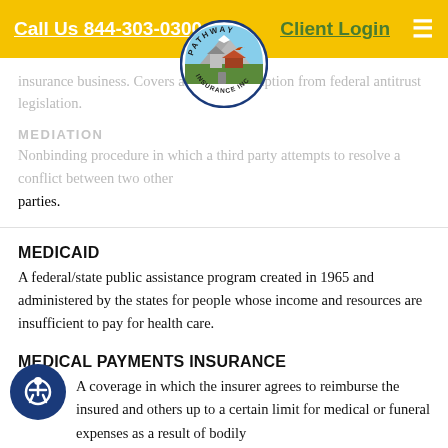Call Us 844-303-0300 | Client Login
[Figure (logo): Pathway Insurance Inc. circular logo with mountain, farm, and bird imagery]
insurance business. Covers a limited exemption from federal antitrust legislation.
MEDIATION
Nonbinding procedure in which a third party attempts to resolve a conflict between two other parties.
MEDICAID
A federal/state public assistance program created in 1965 and administered by the states for people whose income and resources are insufficient to pay for health care.
MEDICAL PAYMENTS INSURANCE
A coverage in which the insurer agrees to reimburse the insured and others up to a certain limit for medical or funeral expenses as a result of bodily